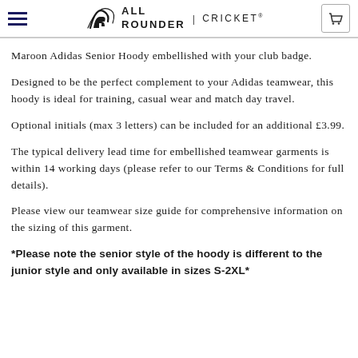All Rounder | Cricket
Maroon Adidas Senior Hoody embellished with your club badge.
Designed to be the perfect complement to your Adidas teamwear, this hoody is ideal for training, casual wear and match day travel.
Optional initials (max 3 letters) can be included for an additional £3.99.
The typical delivery lead time for embellished teamwear garments is within 14 working days (please refer to our Terms & Conditions for full details).
Please view our teamwear size guide for comprehensive information on the sizing of this garment.
*Please note the senior style of the hoody is different to the junior style and only available in sizes S-2XL*